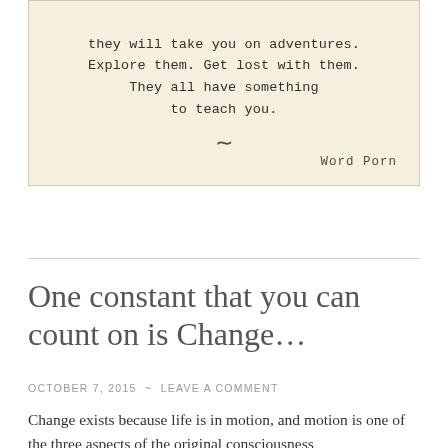[Figure (illustration): Aged cream/tan background card with typewriter-style text quote reading: 'they will take you on adventures. Explore them. Get lost with them. They all have something to teach you.' with a tilde squiggle decoration and 'Word Porn' attribution at bottom right.]
One constant that you can count on is Change…
OCTOBER 7, 2015  ~  LEAVE A COMMENT
Change exists because life is in motion, and motion is one of the three aspects of the original consciousness